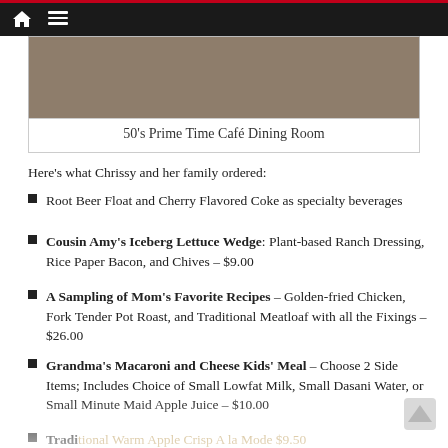[Figure (photo): Top navigation bar with dark background, home icon and hamburger menu icon]
[Figure (photo): 50's Prime Time Café Dining Room photo (partially visible at top)]
50's Prime Time Café Dining Room
Here's what Chrissy and her family ordered:
Root Beer Float and Cherry Flavored Coke as specialty beverages
Cousin Amy's Iceberg Lettuce Wedge: Plant-based Ranch Dressing, Rice Paper Bacon, and Chives – $9.00
A Sampling of Mom's Favorite Recipes – Golden-fried Chicken, Fork Tender Pot Roast, and Traditional Meatloaf with all the Fixings – $26.00
Grandma's Macaroni and Cheese Kids' Meal – Choose 2 Side Items; Includes Choice of Small Lowfat Milk, Small Dasani Water, or Small Minute Maid Apple Juice – $10.00
Traditional Warm Apple Crisp A la Mode $9.50
Dad's Favorite Chocolate-Peanut Butter Layered Cake A la Mode $10.00